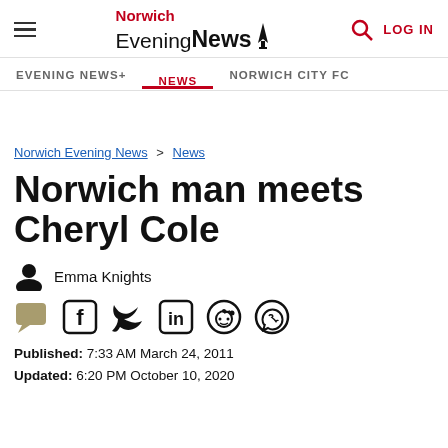Norwich Evening News — LOG IN — navigation header
EVENING NEWS+ | NEWS | NORWICH CITY FC
Norwich Evening News > News
Norwich man meets Cheryl Cole
Emma Knights
Published: 7:33 AM March 24, 2011
Updated: 6:20 PM October 10, 2020